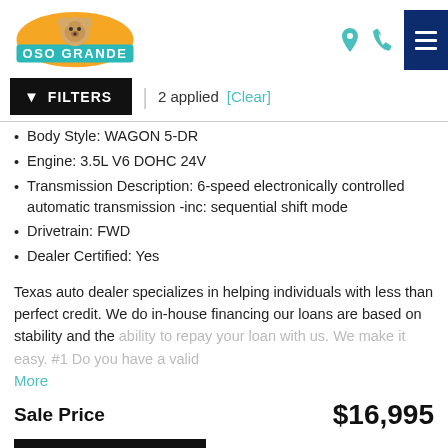[Figure (logo): Oso Grande auto dealer logo with bear and teal banner]
Body Style: WAGON 5-DR
Engine: 3.5L V6 DOHC 24V
Transmission Description: 6-speed electronically controlled automatic transmission -inc: sequential shift mode
Drivetrain: FWD
Dealer Certified: Yes
Texas auto dealer specializes in helping individuals with less than perfect credit. We do in-house financing our loans are based on stability and the ability to repay your loan with us. We make it easy. #1 Do you have a valid
More
Sale Price   $16,995
GET INFO